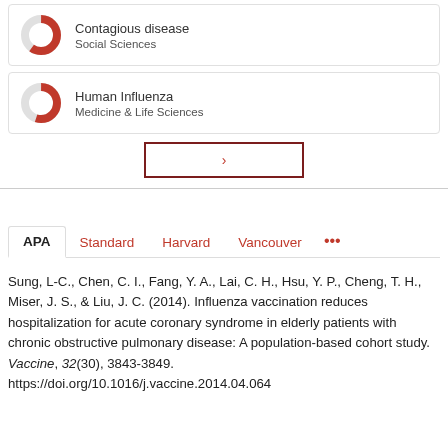[Figure (donut-chart): Partial donut chart icon for Contagious disease / Social Sciences card]
Contagious disease
Social Sciences
[Figure (donut-chart): Partial donut chart icon for Human Influenza / Medicine & Life Sciences card]
Human Influenza
Medicine & Life Sciences
>
APA	Standard	Harvard	Vancouver	...
Sung, L-C., Chen, C. I., Fang, Y. A., Lai, C. H., Hsu, Y. P., Cheng, T. H., Miser, J. S., & Liu, J. C. (2014). Influenza vaccination reduces hospitalization for acute coronary syndrome in elderly patients with chronic obstructive pulmonary disease: A population-based cohort study. Vaccine, 32(30), 3843-3849. https://doi.org/10.1016/j.vaccine.2014.04.064